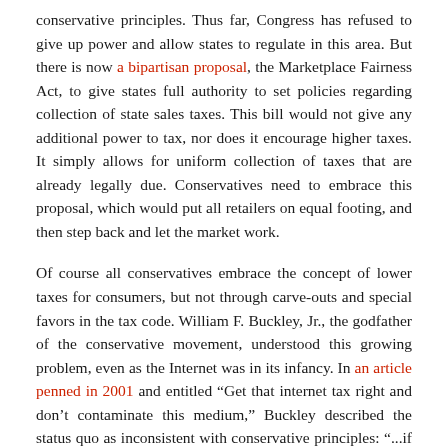conservative principles. Thus far, Congress has refused to give up power and allow states to regulate in this area. But there is now a bipartisan proposal, the Marketplace Fairness Act, to give states full authority to set policies regarding collection of state sales taxes. This bill would not give any additional power to tax, nor does it encourage higher taxes. It simply allows for uniform collection of taxes that are already legally due. Conservatives need to embrace this proposal, which would put all retailers on equal footing, and then step back and let the market work.
Of course all conservatives embrace the concept of lower taxes for consumers, but not through carve-outs and special favors in the tax code. William F. Buckley, Jr., the godfather of the conservative movement, understood this growing problem, even as the Internet was in its infancy. In an article penned in 2001 and entitled “Get that internet tax right and don’t contaminate this medium,” Buckley described the status quo as inconsistent with conservative principles: “...if the advantage of tax free internet commerce marginally closes out local industry, reforms are required.” He suggested that online sellers of